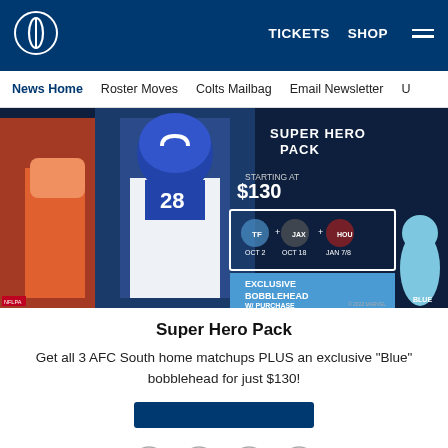Indianapolis Colts — TICKETS  SHOP  [menu]
News Home  Roster Moves  Colts Mailbag  Email Newsletter  U...
[Figure (photo): Promotional image for the Indianapolis Colts Super Hero Pack showing comic-style football players in superhero costumes, 'STARTING AT $130', three game dates (OCT 2, OCT 18, JAN 7/8) with opposing team logos (Titans, Jaguars, Texans), and an exclusive Blue bobblehead mascot. Text: SUPER HERO PACK, STARTING AT $130, EXCLUSIVE BOBBLEHEAD W/ PURCHASE, BLUE.]
Super Hero Pack
Get all 3 AFC South home matchups PLUS an exclusive "Blue" bobblehead for just $130!
[Figure (other): Blue call-to-action button (link/button, partially visible)]
[Figure (other): Social sharing icons row: Facebook, Twitter, Email, Link/Copy]